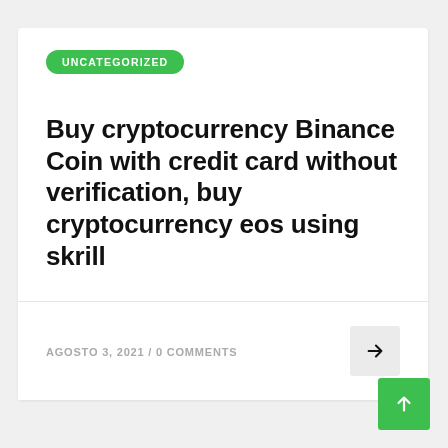UNCATEGORIZED
Buy cryptocurrency Binance Coin with credit card without verification, buy cryptocurrency eos using skrill
AGOSTO 3, 2021 / 0 COMMENTS